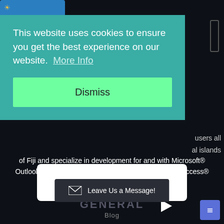[Figure (screenshot): Cookie consent overlay on a dark website. Contains cookie notice text with 'More Info' link and a green 'Dismiss' button. Background shows website text about Fiji and Microsoft Office products. A chat bubble says 'Have a question? Message us!' and a 'Leave Us a Message!' button is visible at the bottom.]
This website uses cookies to ensure you get the best experience on our website. More Info
Dismiss
users all
al islands
of Fiji and specialize in development for and with Microsoft® Outlook® and the rest of Microsoft Office (Microsoft® Access® /Microsoft® Word ®/Microsoft® Excel®).
Have a question? Message us!
GENERAL
Leave Us a Message!
Blog